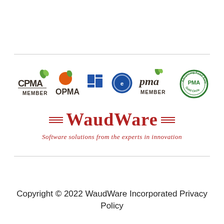[Figure (logo): Row of membership logos: CPMA Member, OPMA, two-box logo, blue circle logo, PMA Member, PMA Gold Circle]
[Figure (logo): WaudWare logo with decorative lines and tagline: Software solutions from the experts in innovation]
Copyright © 2022 WaudWare Incorporated Privacy Policy